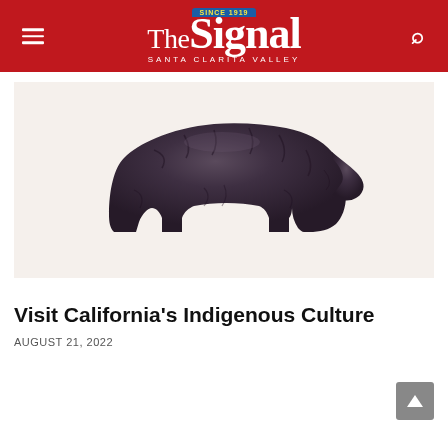The Signal — Santa Clarita Valley (Since 1919)
[Figure (photo): A dark stone artifact shaped like a bear, displayed on a light beige/cream background. The object appears to be a Native American stone effigy or artifact with rough, textured surface.]
Visit California's Indigenous Culture
AUGUST 21, 2022